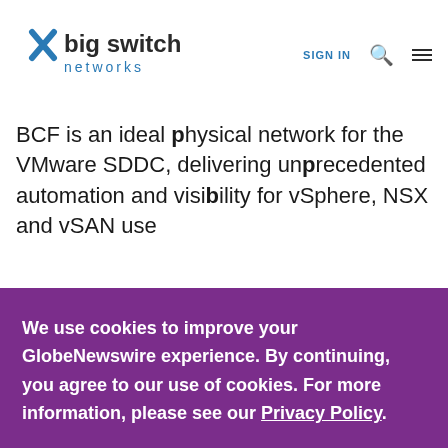Big Switch Networks — SIGN IN
BCF is an ideal physical network for the VMware SDDC, delivering unprecedented automation and visibility for vSphere, NSX and vSAN use
We use cookies to improve your GlobeNewswire experience. By continuing, you agree to our use of cookies. For more information, please see our Privacy Policy.
ACCEPT